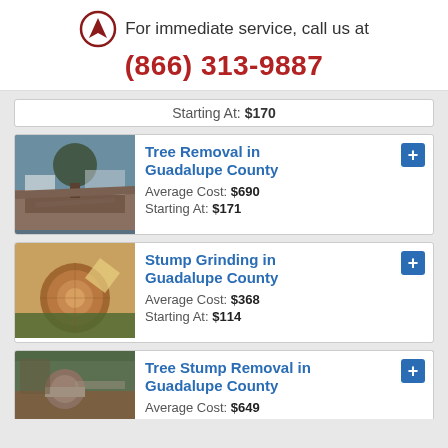For immediate service, call us at
(866) 313-9887
Starting At: $170
Tree Removal in Guadalupe County
Average Cost: $690
Starting At: $171
Stump Grinding in Guadalupe County
Average Cost: $368
Starting At: $114
Tree Stump Removal in Guadalupe County
Average Cost: $649